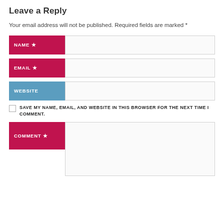Leave a Reply
Your email address will not be published. Required fields are marked *
NAME * [input field]
EMAIL * [input field]
WEBSITE [input field]
SAVE MY NAME, EMAIL, AND WEBSITE IN THIS BROWSER FOR THE NEXT TIME I COMMENT.
COMMENT * [textarea]